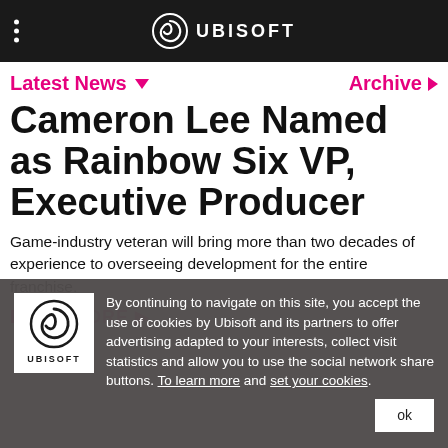UBISOFT
Latest News   Archive
Cameron Lee Named as Rainbow Six VP, Executive Producer
Game-industry veteran will bring more than two decades of experience to overseeing development for the entire franchise.
By continuing to navigate on this site, you accept the use of cookies by Ubisoft and its partners to offer advertising adapted to your interests, collect visit statistics and allow you to use the social network share buttons. To learn more and set your cookies.